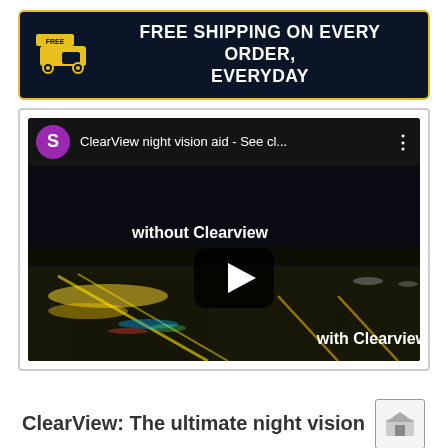FREE SHIPPING ON EVERY ORDER, EVERYDAY
[Figure (screenshot): YouTube-style video thumbnail showing 'ClearView night vision aid - See cl...' with a night driving scene showing blurry lights without Clearview vs clear view with Clearview. Purple avatar circle with 'S', play button overlay, three-dot menu icon.]
ClearView: The ultimate night vision